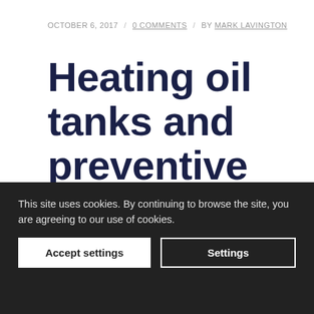OCTOBER 6, 2017 / 0 COMMENTS / BY MARK LAVINGTON
Heating oil tanks and preventive maintenance
HOLIDAY LET MAINTENANCE
This site uses cookies. By continuing to browse the site, you are agreeing to our use of cookies.
From...
gas
boilers